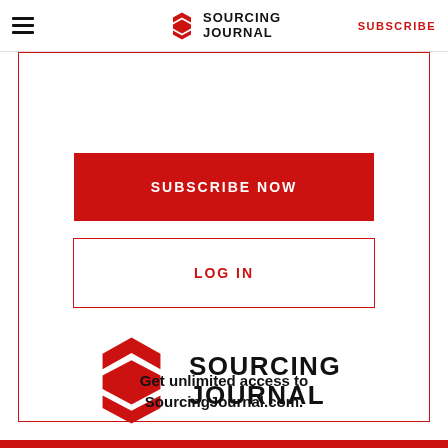Sourcing Journal | SUBSCRIBE
to Read the Full Story
SUBSCRIBE NOW
LOG IN
[Figure (logo): Sourcing Journal logo — red geometric S-shaped icon with text SOURCING JOURNAL in bold black]
Get unlimited access to SourcingJournal.com.